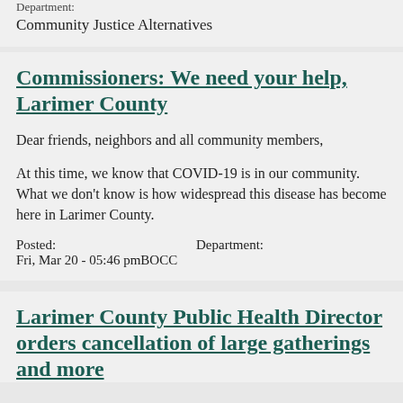Department:
Community Justice Alternatives
Commissioners: We need your help, Larimer County
Dear friends, neighbors and all community members,
At this time, we know that COVID-19 is in our community. What we don't know is how widespread this disease has become here in Larimer County.
Posted:                    Department:
Fri, Mar 20 - 05:46 pmBOCC
Larimer County Public Health Director orders cancellation of large gatherings and more